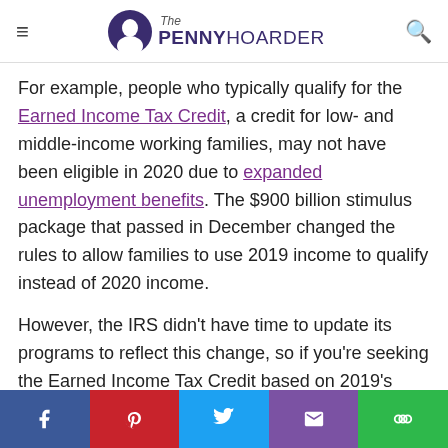The Penny Hoarder
For example, people who typically qualify for the Earned Income Tax Credit, a credit for low- and middle-income working families, may not have been eligible in 2020 due to expanded unemployment benefits. The $900 billion stimulus package that passed in December changed the rules to allow families to use 2019 income to qualify instead of 2020 income.
However, the IRS didn't have time to update its programs to reflect this change, so if you're seeking the Earned Income Tax Credit based on 2019's income, an IRS employee will need to manually review it.
The same applies if you're eligible for stimulus money from